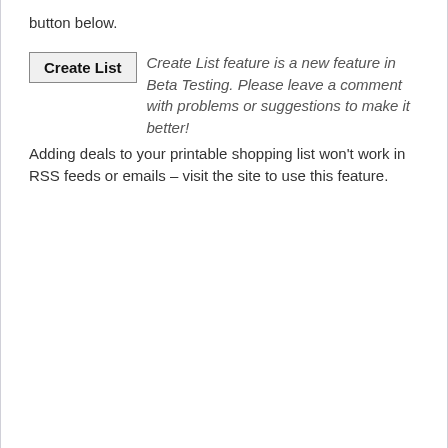button below.
Create List feature is a new feature in Beta Testing. Please leave a comment with problems or suggestions to make it better!
Adding deals to your printable shopping list won't work in RSS feeds or emails – visit the site to use this feature.